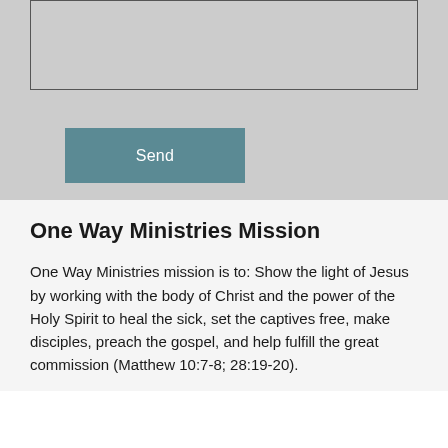[Figure (screenshot): A contact form section with a text input area and a teal 'Send' button on a light gray background.]
One Way Ministries Mission
One Way Ministries mission is to: Show the light of Jesus by working with the body of Christ and the power of the Holy Spirit to heal the sick, set the captives free, make disciples, preach the gospel, and help fulfill the great commission (Matthew 10:7-8; 28:19-20).